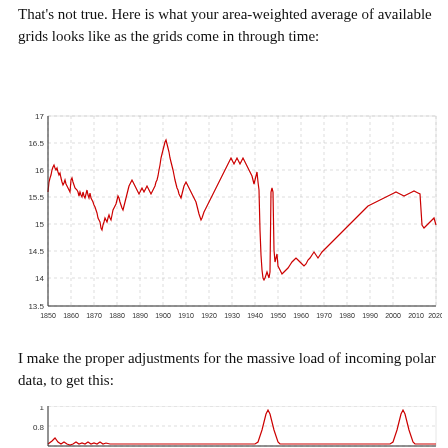That's not true. Here is what your area-weighted average of available grids looks like as the grids come in through time:
[Figure (continuous-plot): Line chart showing area-weighted average temperature anomaly from ~1850 to 2020. The red line fluctuates between roughly 13.5 and 16.7, with high values early (~16.4 around 1860s), a dip to ~14.5 around 1910, a sharp peak to ~16.7 around 1940-1945, then a dramatic drop to ~14.0 around 1950-1960, followed by a gradual rise back to ~15.0 by 2020.]
I make the proper adjustments for the massive load of incoming polar data, to get this:
[Figure (continuous-plot): Partial line chart visible at bottom of page, showing values around 0.8 to 1.0 with a few sharp spikes, x-axis from approximately 1850 to 2020.]